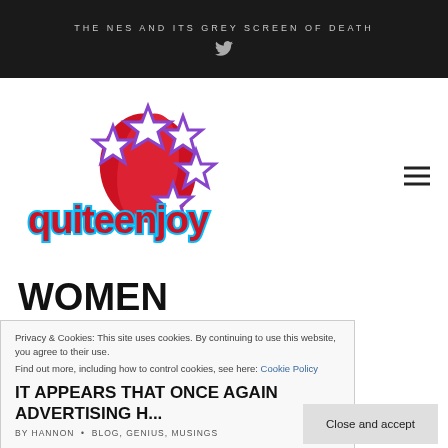THE NES AND ITS GREY SCREEN OF DEATH
[Figure (logo): quiteenjoy logo with colorful stars and red burst graphic]
WOMEN
Privacy & Cookies: This site uses cookies. By continuing to use this website, you agree to their use. Find out more, including how to control cookies, see here: Cookie Policy
IT APPEARS THAT ONCE AGAIN ADVERTISING H...
BY HANNON • BLOG, GENIUS, MUSINGS
Close and accept